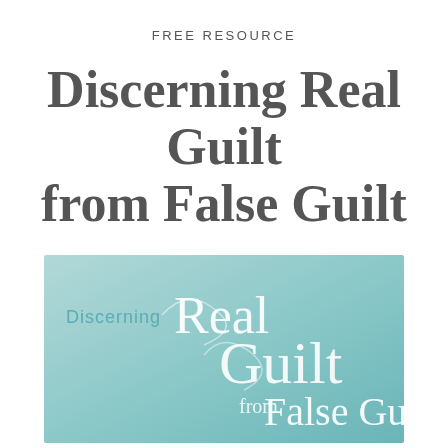FREE RESOURCE
Discerning Real Guilt from False Guilt
[Figure (illustration): Banner image with teal/mint gradient background showing stylized cursive text: 'Discerning Real Guilt from False Guilt']
Enter your email address here...